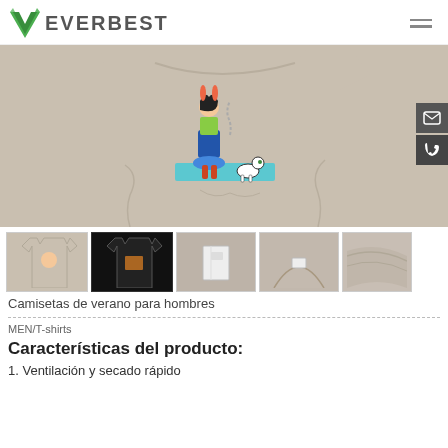EVERBEST
[Figure (photo): Main product image of a beige t-shirt with a cartoon girl and dog graphic printed on it.]
[Figure (photo): Five thumbnail images of t-shirt product: beige front, black front, tag close-up, collar close-up, fabric close-up.]
Camisetas de verano para hombres
MEN/T-shirts
Características del producto:
1.  Ventilación y secado rápido